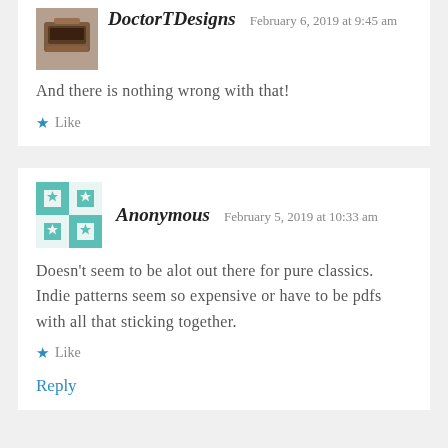DoctorTDesigns  February 6, 2019 at 9:45 am
And there is nothing wrong with that!
Like
Anonymous  February 5, 2019 at 10:33 am
Doesn't seem to be alot out there for pure classics. Indie patterns seem so expensive or have to be pdfs with all that sticking together.
Like
Reply